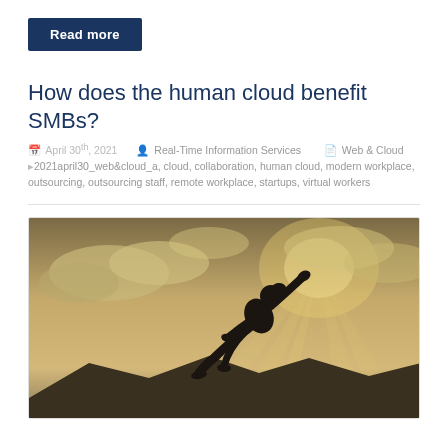Read more
How does the human cloud benefit SMBs?
April 30th, 2021   Real-Time Information Services   Web & Cloud   2021april30_web&cloud_a, cloud, collaboration, human cloud, modern workplace, outsourcing, outsourcing staff, remote workplace, startups, virtual workers
[Figure (photo): Silhouette of a person leaping or flying against a dramatic sky with clouds and sunrays, creating a sense of freedom and aspiration.]